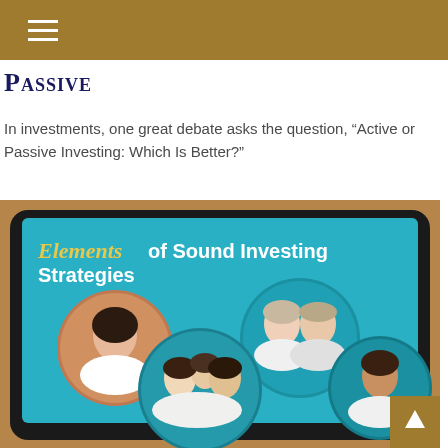Passive
In investments, one great debate asks the question, “Active or Passive Investing: Which Is Better?”
[Figure (photo): A tablet computer displaying a presentation slide titled 'Elements of Sound Investing Strategies' with circular photos of smiling people (couples, families, individuals) on a teal background.]